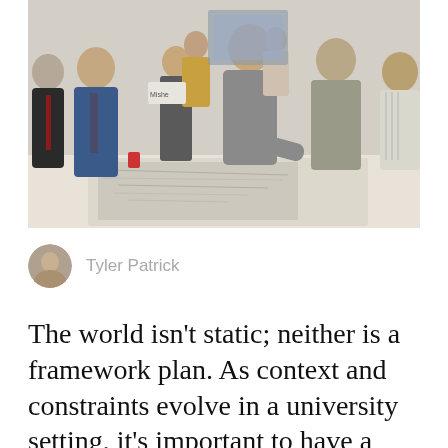[Figure (photo): Group of professionals gathered around a table reviewing large architectural or planning drawings/maps. One person in the center is leaning over and pointing at the documents. Others are standing around observing. Office/meeting room setting.]
Tyler Patrick
The world isn't static; neither is a framework plan. As context and constraints evolve in a university setting, it's important to have a structural understanding of how